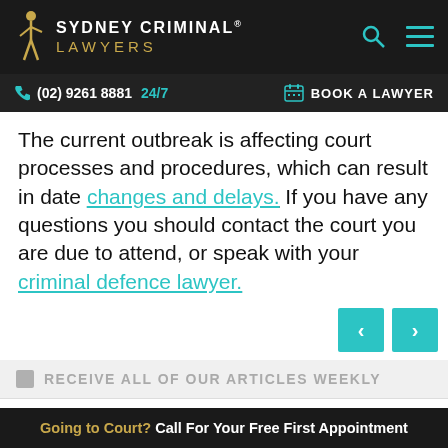SYDNEY CRIMINAL® LAWYERS — (02) 9261 8881 24/7 — BOOK A LAWYER
The current outbreak is affecting court processes and procedures, which can result in date changes and delays. If you have any questions you should contact the court you are due to attend, or speak with your criminal defence lawyer.
RECEIVE ALL OF OUR ARTICLES WEEKLY
YOUR EMAIL *
Going to Court? Call For Your Free First Appointment